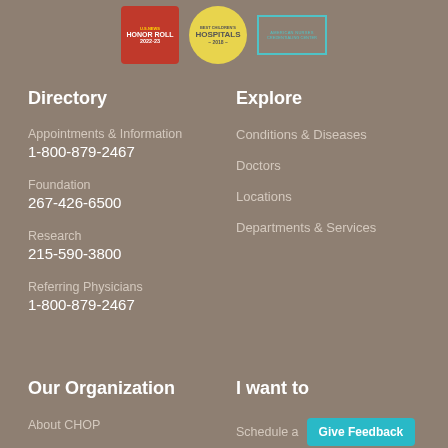[Figure (logo): Three hospital award badges: US News Honor Roll 2022-23, Best Children's Hospitals 2018, and American Nurses Credentialing Center badge]
Directory
Appointments & Information
1-800-879-2467
Foundation
267-426-6500
Research
215-590-3800
Referring Physicians
1-800-879-2467
Explore
Conditions & Diseases
Doctors
Locations
Departments & Services
Our Organization
I want to
About CHOP
Schedule a
Give Feedback